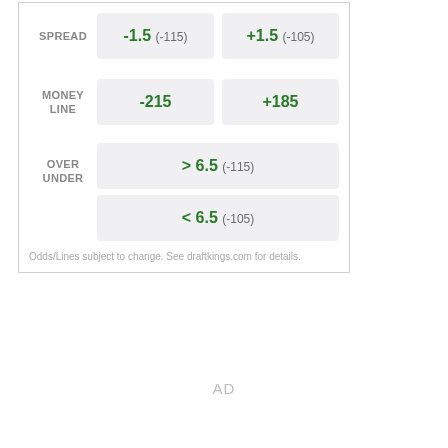|  | Team 1 | Team 2 |
| --- | --- | --- |
| SPREAD | -1.5  (-115) | +1.5  (-105) |
| MONEY LINE | -215 | +185 |
| OVER UNDER | > 6.5  (-115) | < 6.5  (-105) |
Odds/Lines subject to change. See draftkings.com for details.
AD